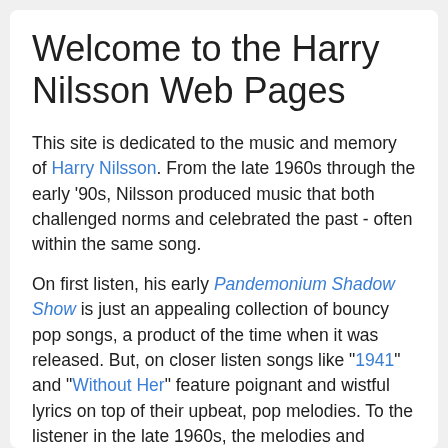Welcome to the Harry Nilsson Web Pages
This site is dedicated to the music and memory of Harry Nilsson. From the late 1960s through the early '90s, Nilsson produced music that both challenged norms and celebrated the past - often within the same song.
On first listen, his early Pandemonium Shadow Show is just an appealing collection of bouncy pop songs, a product of the time when it was released. But, on closer listen songs like "1941" and "Without Her" feature poignant and wistful lyrics on top of their upbeat, pop melodies. To the listener in the late 1960s, the melodies and songs, such as